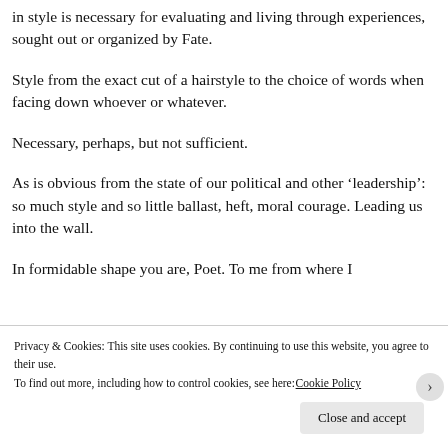in style is necessary for evaluating and living through experiences, sought out or organized by Fate.
Style from the exact cut of a hairstyle to the choice of words when facing down whoever or whatever.
Necessary, perhaps, but not sufficient.
As is obvious from the state of our political and other ‘leadership’: so much style and so little ballast, heft, moral courage. Leading us into the wall.
In formidable shape you are, Poet. To me from where I
Privacy & Cookies: This site uses cookies. By continuing to use this website, you agree to their use.
To find out more, including how to control cookies, see here: Cookie Policy